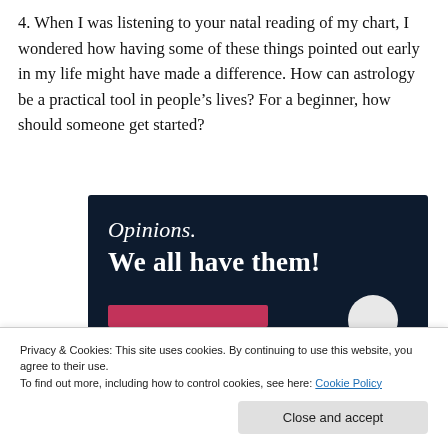4. When I was listening to your natal reading of my chart, I wondered how having some of these things pointed out early in my life might have made a difference. How can astrology be a practical tool in people's lives? For a beginner, how should someone get started?
[Figure (other): Dark navy blue advertisement banner with white serif text reading 'Opinions.' on top line (italic) and 'We all have them!' in bold below. Pink/rose colored bar at bottom left and a light gray circle at bottom right.]
Privacy & Cookies: This site uses cookies. By continuing to use this website, you agree to their use.
To find out more, including how to control cookies, see here: Cookie Policy